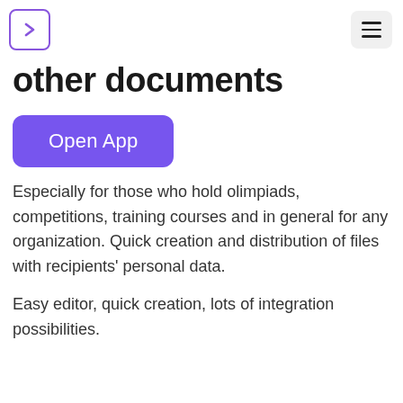other documents
Open App
Especially for those who hold olimpiads, competitions, training courses and in general for any organization. Quick creation and distribution of files with recipients' personal data.
Easy editor, quick creation, lots of integration possibilities.